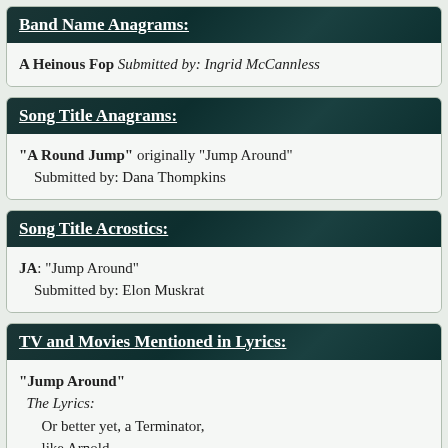Band Name Anagrams:
A Heinous Fop Submitted by: Ingrid McCannless
Song Title Anagrams:
"A Round Jump" originally "Jump Around"
    Submitted by: Dana Thompkins
Song Title Acrostics:
JA: "Jump Around"
    Submitted by: Elon Muskrat
TV and Movies Mentioned in Lyrics:
"Jump Around"
  The Lyrics:
      Or better yet, a Terminator,
      like Arnold